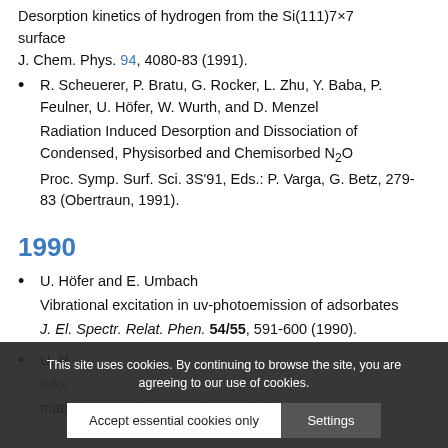Desorption kinetics of hydrogen from the Si(111)7×7 surface
J. Chem. Phys. 94, 4080-83 (1991).
R. Scheuerer, P. Bratu, G. Rocker, L. Zhu, Y. Baba, P. Feulner, U. Höfer, W. Wurth, and D. Menzel
Radiation Induced Desorption and Dissociation of Condensed, Physisorbed and Chemisorbed N₂O
Proc. Symp. Surf. Sci. 3S'91, Eds.: P. Varga, G. Betz, 279-83 (Obertraun, 1991).
1990
U. Höfer and E. Umbach
Vibrational excitation in uv-photoemission of adsorbates
J. El. Spectr. Relat. Phen. 54/55, 591-600 (1990).
U. Höfer and E. Umbach
Information content from uv-photoemission spectra of physisorbed...
This site uses cookies. By continuing to browse the site, you are agreeing to our use of cookies.